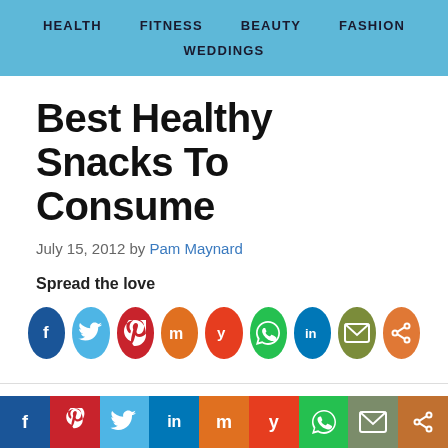HEALTH   FITNESS   BEAUTY   FASHION   WEDDINGS
Best Healthy Snacks To Consume
July 15, 2012 by Pam Maynard
Spread the love
[Figure (infographic): Row of social media share buttons as colored circles: Facebook (dark blue), Twitter (light blue), Pinterest (red), Mix (orange), Yummly (orange-red), WhatsApp (green), LinkedIn (blue), Email (dark olive), Share (orange)]
[Figure (infographic): Bottom bar of social media share buttons: Facebook (dark blue), Pinterest (red), Twitter (light blue), LinkedIn (dark blue), Mix (orange), Yummly (red-orange), WhatsApp (green), Email (grey-green), Share (orange-brown)]